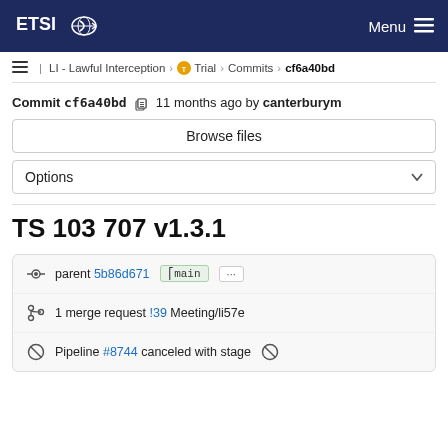ETSI — Menu
LI - Lawful Interception > Trial > Commits > cf6a40bd
Commit cf6a40bd  11 months ago by canterburym
Browse files
Options
TS 103 707 v1.3.1
parent 5b86d671  main  ...
1 merge request !39 Meeting/li57e
Pipeline #8744 canceled with stage